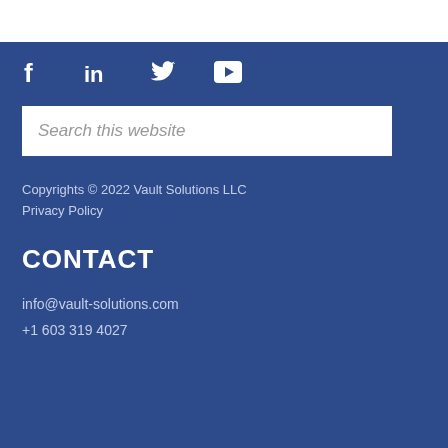[Figure (illustration): Social media icons: Facebook, LinkedIn, Twitter, YouTube — white icons on blue background]
Search this website
Copyrights © 2022 Vault Solutions LLC
Privacy Policy
CONTACT
info@vault-solutions.com
+1 603 319 4027